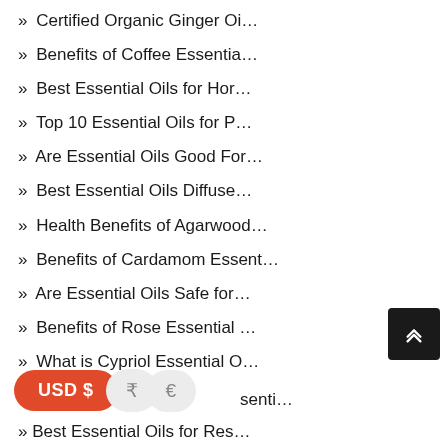» Certified Organic Ginger Oi…
» Benefits of Coffee Essentia…
» Best Essential Oils for Hor…
» Top 10 Essential Oils for P…
» Are Essential Oils Good For…
» Best Essential Oils Diffuse…
» Health Benefits of Agarwood…
» Benefits of Cardamom Essent…
» Are Essential Oils Safe for…
» Benefits of Rose Essential …
» What is Cypriol Essential O…
» senti…
» Best Essential Oils for Res…